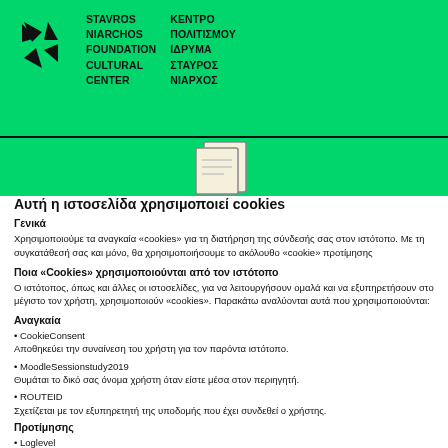[Figure (logo): Stavros Niarchos Foundation Cultural Center logo with pinwheel icon and bilingual text in English and Greek]
[Figure (illustration): Cookie icon illustration on green background]
Αυτή η ιστοσελίδα χρησιμοποιεί cookies
Γενικά
Χρησιμοποιούμε τα αναγκαία «cookies» για τη διατήρηση της σύνδεσής σας στον ιστότοπο. Με τη συγκατάθεσή σας και μόνο, θα χρησιμοποιήσουμε το ακόλουθο «cookie» προτίμησης
Ποια «Cookies» χρησιμοποιούνται από τον ιστότοπο
Ο ιστότοπος, όπως και άλλες οι ιστοσελίδες, για να λειτουργήσουν ομαλά και να εξυπηρετήσουν στο μέγιστο τον χρήστη, χρησιμοποιούν «cookies». Παρακάτω αναλύονται αυτά που χρησιμοποιούνται:
Αναγκαία
• CookieConsent
Αποθηκεύει την συναίνεση του χρήστη για τον παρόντα ιστότοπο.
• MoodleSessionstudy2019
Θυμάται το δικό σας όνομα χρήστη όταν είστε μέσα στον περιηγητή.
• ROUTEID
Σχετίζεται με τον εξυπηρετητή της υποδομής που έχει συνδεθεί ο χρήστης.
Προτίμησης
• Loglevel